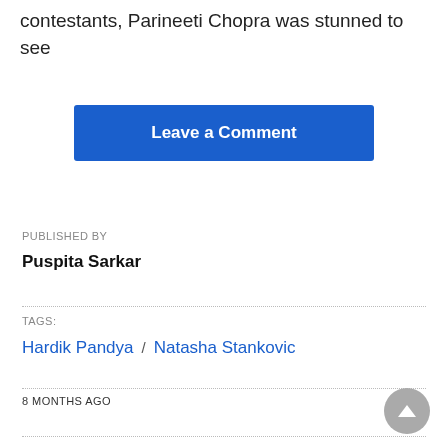contestants, Parineeti Chopra was stunned to see
Leave a Comment
PUBLISHED BY
Puspita Sarkar
TAGS:
Hardik Pandya / Natasha Stankovic
8 MONTHS AGO